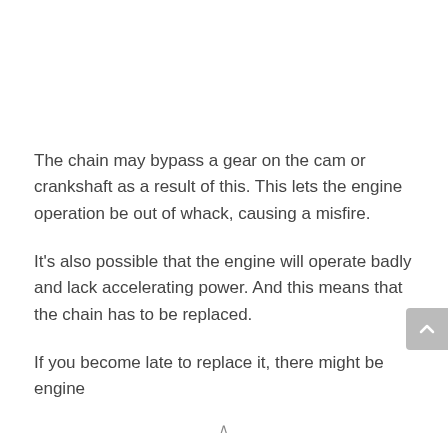The chain may bypass a gear on the cam or crankshaft as a result of this. This lets the engine operation be out of whack, causing a misfire.
It's also possible that the engine will operate badly and lack accelerating power. And this means that the chain has to be replaced.
If you become late to replace it, there might be engine